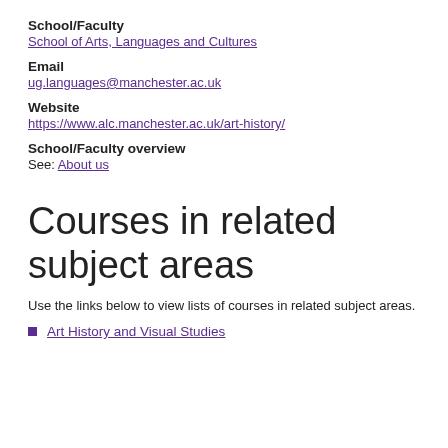School/Faculty
School of Arts, Languages and Cultures
Email
ug.languages@manchester.ac.uk
Website
https://www.alc.manchester.ac.uk/art-history/
School/Faculty overview
See: About us
Courses in related subject areas
Use the links below to view lists of courses in related subject areas.
Art History and Visual Studies